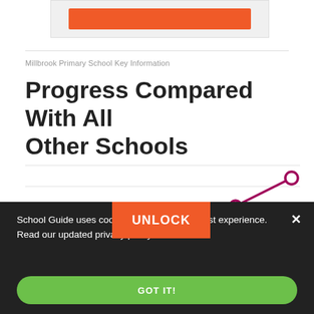[Figure (other): Top gray box with orange unlock button (partially visible at top of page)]
Millbrook Primary School Key Information
Progress Compared With All Other Schools
[Figure (line-chart): Partial line chart showing an upward trending dark red/magenta line with open circle markers, partially obscured by UNLOCK button overlay]
UNLOCK
School Guide uses cookies to give you the best experience. Read our updated privacy policy.
GOT IT!